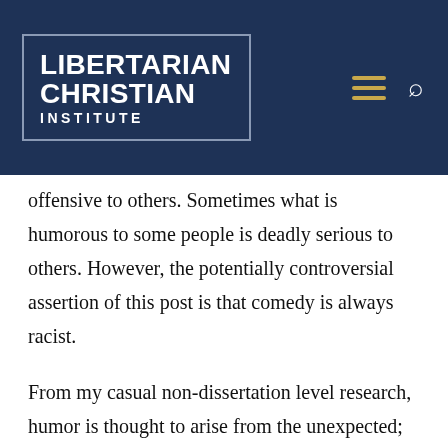[Figure (logo): Libertarian Christian Institute logo — white bold text on dark navy background with border box, showing LIBERTARIAN CHRISTIAN INSTITUTE]
offensive to others. Sometimes what is humorous to some people is deadly serious to others. However, the potentially controversial assertion of this post is that comedy is always racist.
From my casual non-dissertation level research, humor is thought to arise from the unexpected; that is, something which was